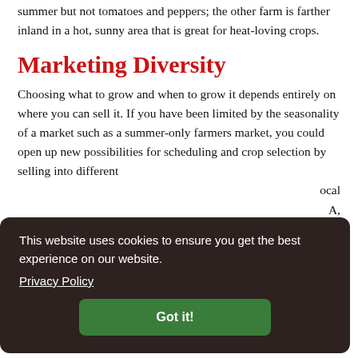summer but not tomatoes and peppers; the other farm is farther inland in a hot, sunny area that is great for heat-loving crops.
Marketing Diversity
Choosing what to grow and when to grow it depends entirely on where you can sell it. If you have been limited by the seasonality of a market such as a summer-only farmers market, you could open up new possibilities for scheduling and crop selection by selling into different
ocal A, s, s, and
[Figure (screenshot): Cookie consent popup overlay with dark brown background. Text reads: 'This website uses cookies to ensure you get the best experience on our website.' with a 'Privacy Policy' link and a green 'Got it!' button.]
Enterprise Diversity